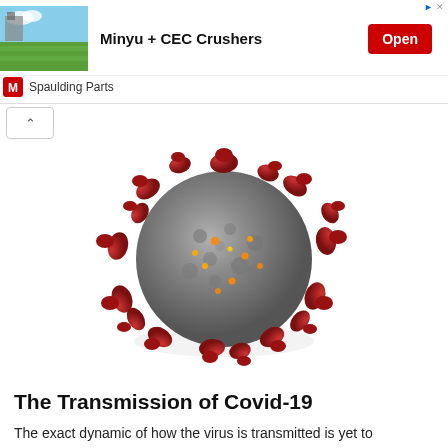[Figure (screenshot): Advertisement banner for Minyu + CEC Crushers by Spaulding Parts, showing a landscape/field image on the left, bold ad title in center, and a red 'Open' button on the right. Includes AdChoices icon and an X close button at top right.]
[Figure (photo): 3D rendering of the SARS-CoV-2 (Covid-19) coronavirus particle showing a spherical gray body covered with red spike proteins and smaller orange surface proteins on a white background.]
The Transmission of Covid-19
The exact dynamic of how the virus is transmitted is yet to